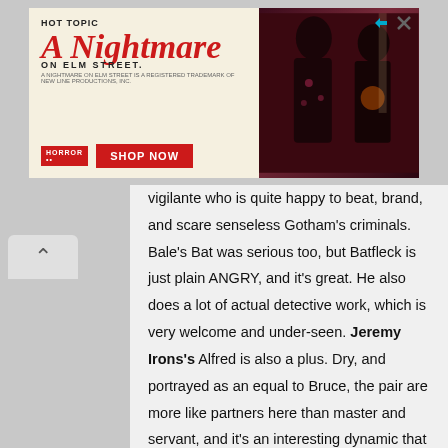[Figure (illustration): Hot Topic advertisement banner for 'A Nightmare on Elm Street' merchandise featuring two young people in dark gothic clothing against a dark red background, with 'SHOP NOW' button]
vigilante who is quite happy to beat, brand, and scare senseless Gotham's criminals. Bale's Bat was serious too, but Batfleck is just plain ANGRY, and it's great. He also does a lot of actual detective work, which is very welcome and under-seen. Jeremy Irons's Alfred is also a plus. Dry, and portrayed as an equal to Bruce, the pair are more like partners here than master and servant, and it's an interesting dynamic that we will hopefully see more of.

What we are also already signed up to see more of though is Snyder. Here his lack